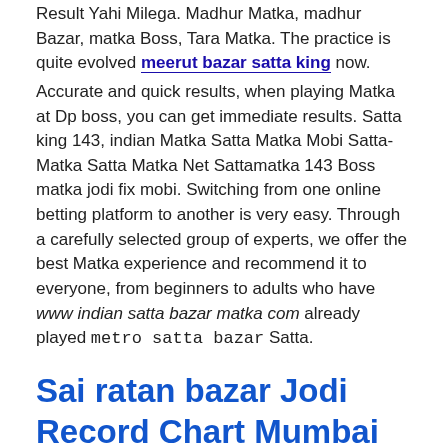Result Yahi Milega. Madhur Matka, madhur Bazar, matka Boss, Tara Matka. The practice is quite evolved meerut bazar satta king now.
Accurate and quick results, when playing Matka at Dp boss, you can get immediate results. Satta king 143, indian Matka Satta Matka Mobi Satta-Matka Satta Matka Net Sattamatka 143 Boss matka jodi fix mobi. Switching from one online betting platform to another is very easy. Through a carefully selected group of experts, we offer the best Matka experience and recommend it to everyone, from beginners to adults who have www indian satta bazar matka com already played metro satta bazar Satta.
Sai ratan bazar Jodi Record Chart Mumbai Satta Matka Market
Please Quit Our Site Right Now. To stay connected with us for our all updates, lucky numbers kalyan charts, time bazar you should registerMatka Game, Satta Matka Tips And Tricks, Mumbai Matka Results, Fix Matka Number